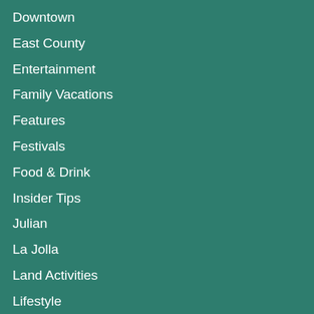Downtown
East County
Entertainment
Family Vacations
Features
Festivals
Food & Drink
Insider Tips
Julian
La Jolla
Land Activities
Lifestyle
Little Italy